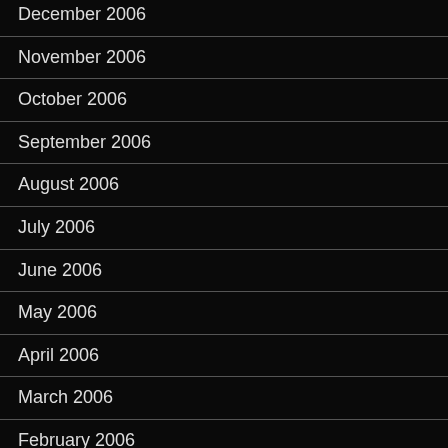December 2006
November 2006
October 2006
September 2006
August 2006
July 2006
June 2006
May 2006
April 2006
March 2006
February 2006
January 2006